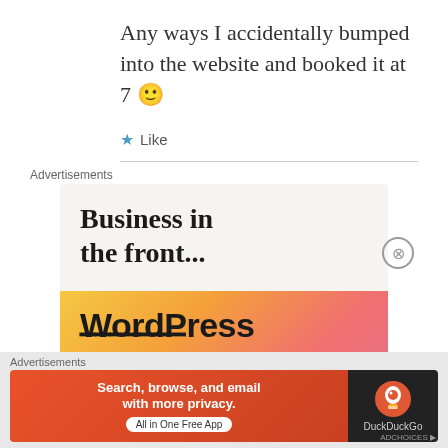Any ways I accidentally bumped into the website and booked it at 7 🙂
★ Like
Advertisements
[Figure (screenshot): Advertisement banner for WordPress showing 'Business in the front...' headline with WordPress text on an orange/pink gradient bar at the bottom]
Advertisements
[Figure (screenshot): DuckDuckGo advertisement banner: 'Search, browse, and email with more privacy. All in One Free App' on orange background with DuckDuckGo logo on dark right side]